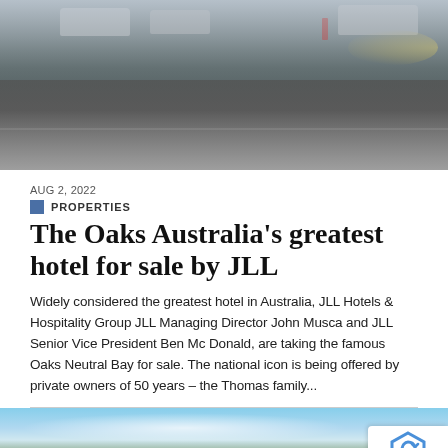[Figure (photo): Street scene with cars on a road, person visible on sidewalk, evening or overcast lighting]
AUG 2, 2022
PROPERTIES
The Oaks Australia's greatest hotel for sale by JLL
Widely considered the greatest hotel in Australia, JLL Hotels & Hospitality Group JLL Managing Director John Musca and JLL Senior Vice President Ben McDonald, are taking the famous Oaks Neutral Bay for sale. The national icon is being offered by private owners of 50 years – the Thomas family...
[Figure (photo): Aerial or landscape view with blue sky, clouds, and green tree canopy in the foreground]